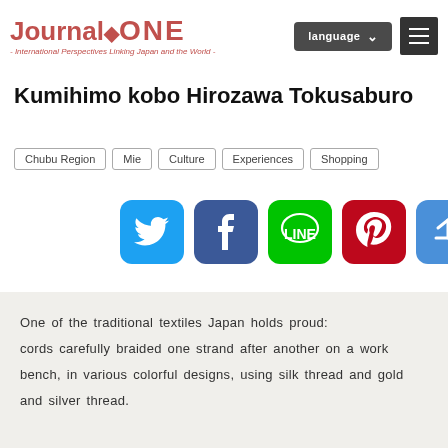Journal ONE - International Perspectives Linking Japan and the World -
Kumihimo kobo Hirozawa Tokusaburo
Chubu Region
Mie
Culture
Experiences
Shopping
[Figure (infographic): Social share icons: Twitter, Facebook, LINE, Pinterest, and a general share button]
One of the traditional textiles Japan holds proud: cords carefully braided one strand after another on a work bench, in various colorful designs, using silk thread and gold and silver thread.